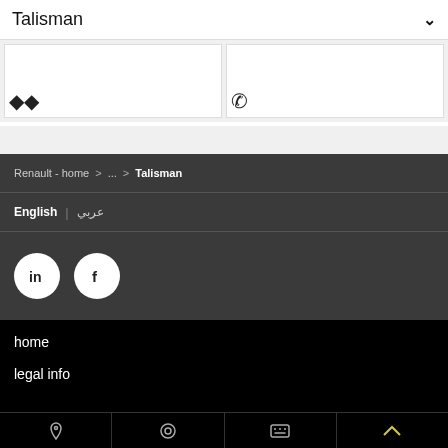Talisman
[Figure (photo): Two partially visible car image thumbnails/cards with icons]
Renault - home > ... > Talisman
English | عربي
[Figure (other): LinkedIn and Facebook social media circle icons]
home
legal info
Navigation bar icons: location pin, settings/circle, keyboard/remote, back-to-top chevron